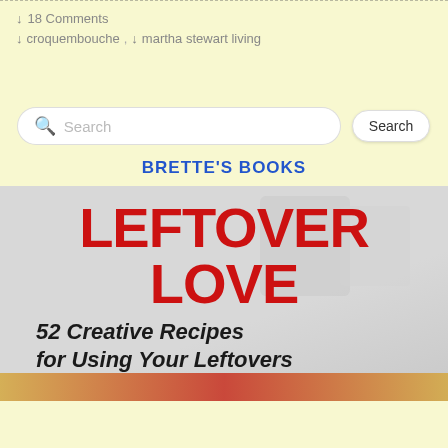↓ 18 Comments
↓ croquembouche , ↓ martha stewart living
Search
BRETTE'S BOOKS
[Figure (illustration): Book cover for 'Leftover Love: 52 Creative Recipes for Using Your Leftovers' with bold red title text and italic subtitle on a light gray background with kitchen containers visible]
LEFTOVER LOVE
52 Creative Recipes for Using Your Leftovers